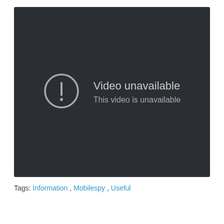[Figure (screenshot): Dark video player showing 'Video unavailable' error with a circle-exclamation icon and subtitle 'This video is unavailable']
Tags: Information , Mobilespy , Useful